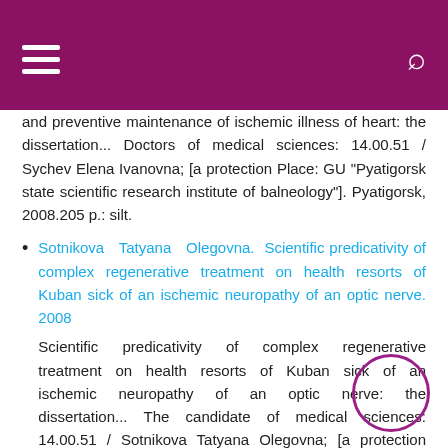and preventive maintenance of ischemic illness of heart: the dissertation... Doctors of medical sciences: 14.00.51 / Sychev Elena Ivanovna; [a protection Place: GU "Pyatigorsk state scientific research institute of balneology"]. Pyatigorsk, 2008.205 p.: silt.
Sotnikova Tatyana Olegovna. Scientific predicativity of complex regenerative treatment on health resorts of Kuban sick of an ischemic neuropathy of an optic nerve. 2008
Scientific predicativity of complex regenerative treatment on health resorts of Kuban sick of an ischemic neuropathy of an optic nerve: the dissertation... The candidate of medical sciences: 14.00.51 / Sotnikova Tatyana Olegovna; [a protection Place: the Research centre of balneology and aftertreatment of the Black Sea zone management of